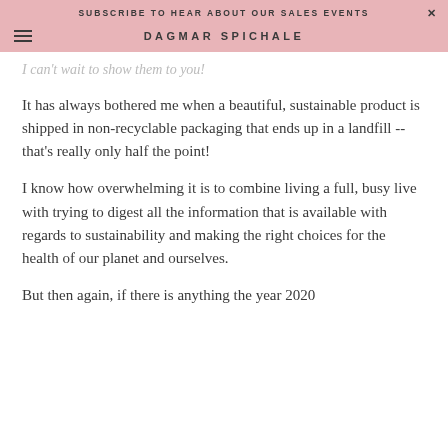SUBSCRIBE TO HEAR ABOUT OUR SALES EVENTS  ×
DAGMAR SPICHALE
I can't wait to show them to you!
It has always bothered me when a beautiful, sustainable product is shipped in non-recyclable packaging that ends up in a landfill -- that's really only half the point!
I know how overwhelming it is to combine living a full, busy live with trying to digest all the information that is available with regards to sustainability and making the right choices for the health of our planet and ourselves.
But then again, if there is anything the year 2020